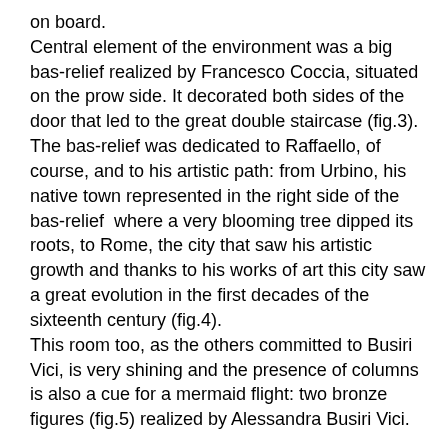on board. Central element of the environment was a big bas-relief realized by Francesco Coccia, situated on the prow side. It decorated both sides of the door that led to the great double staircase (fig.3). The bas-relief was dedicated to Raffaello, of course, and to his artistic path: from Urbino, his native town represented in the right side of the bas-relief  where a very blooming tree dipped its roots, to Rome, the city that saw his artistic growth and thanks to his works of art this city saw a great evolution in the first decades of the sixteenth century (fig.4). This room too, as the others committed to Busiri Vici, is very shining and the presence of columns is also a cue for a mermaid flight: two bronze figures (fig.5) realized by Alessandra Busiri Vici.